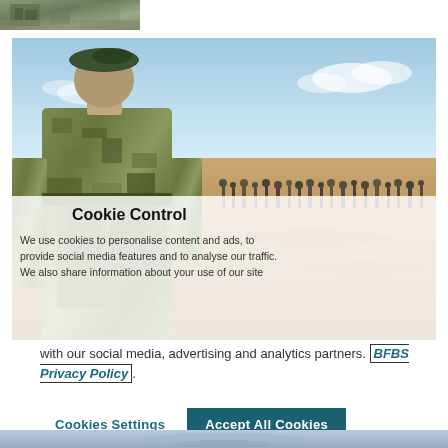[Figure (photo): Small thumbnail image at top left, showing what appears to be a building or landscape scene]
[Figure (photo): Large military photo showing a British soldier in camouflage uniform and green beret from behind, facing a group of people in a desert/arid environment. A cookie consent overlay partially covers the lower portion of the image.]
Cookie Control
We use cookies to personalise content and ads, to provide social media features and to analyse our traffic. We also share information about your use of our site with our social media, advertising and analytics partners. BFBS Privacy Policy.
[Figure (photo): Bottom strip showing partial image, appears to be another military or outdoor scene]
Cookies Settings
Accept All Cookies